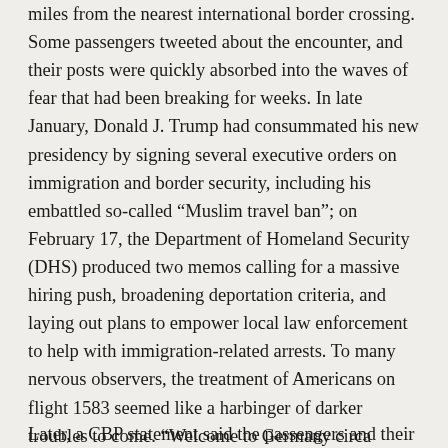miles from the nearest international border crossing. Some passengers tweeted about the encounter, and their posts were quickly absorbed into the waves of fear that had been breaking for weeks. In late January, Donald J. Trump had consummated his new presidency by signing several executive orders on immigration and border security, including his embattled so-called “Muslim travel ban”; on February 17, the Department of Homeland Security (DHS) produced two memos calling for a massive hiring push, broadening deportation criteria, and laying out plans to empower local law enforcement to help with immigration-related arrests. To many nervous observers, the treatment of Americans on flight 1583 seemed like a harbinger of darker troubles to come. “Welcome to Germany circa 1943,” one especially gloomy Twitter user replied to a passenger’s post. “And it’s just getting started.”
Later, a CBP statement said the passengers and their